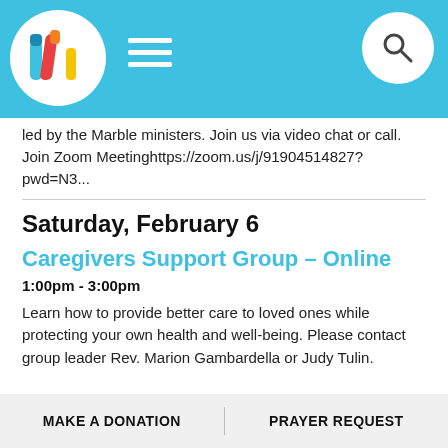Marble Collegiate Church navigation header with logo, hamburger menu, and search icon
led by the Marble ministers. Join us via video chat or call. Join Zoom Meetinghttps://zoom.us/j/91904514827?pwd=N3...
Saturday, February 6
Caregivers Support Group - Online
1:00pm - 3:00pm
Learn how to provide better care to loved ones while protecting your own health and well-being. Please contact group leader Rev. Marion Gambardella or Judy Tulin.
MAKE A DONATION   PRAYER REQUEST